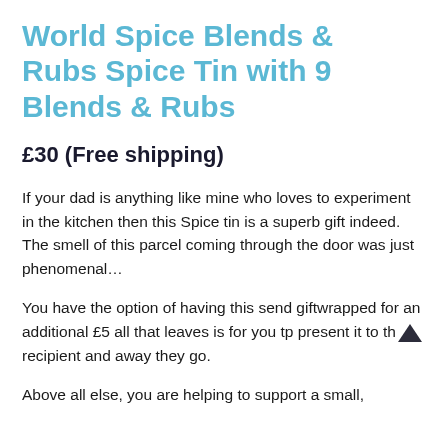World Spice Blends & Rubs Spice Tin with 9 Blends & Rubs
£30 (Free shipping)
If your dad is anything like mine who loves to experiment in the kitchen then this Spice tin is a superb gift indeed. The smell of this parcel coming through the door was just phenomenal…
You have the option of having this send giftwrapped for an additional £5 all that leaves is for you tp present it to the recipient and away they go.
Above all else, you are helping to support a small,